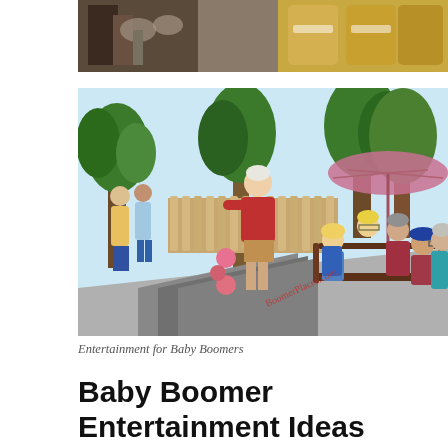[Figure (photo): Partial photo at top of page showing kitchen/shop items on a counter or shelf, partially cropped]
[Figure (illustration): Colorful illustration of Baby Boomers enjoying outdoor activities - a person in red shirt playing bocce ball on a lane, with several older adults seated on benches watching. Trees and a pink umbrella in the background. Watermark text reads BoomerPlaces.com]
Entertainment for Baby Boomers
Baby Boomer Entertainment Ideas